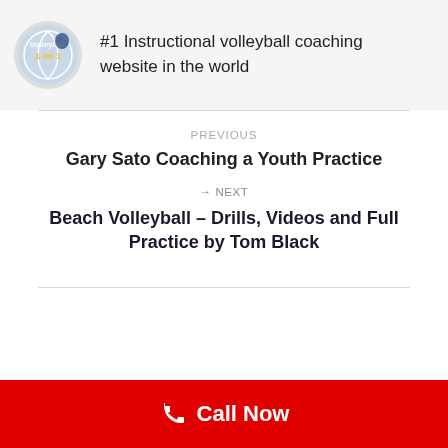[Figure (logo): Volleyball 1 on 1 circular logo with volleyball player silhouette]
#1 Instructional volleyball coaching website in the world
PREVIOUS
Gary Sato Coaching a Youth Practice
→ NEXT
Beach Volleyball – Drills, Videos and Full Practice by Tom Black
Call Now